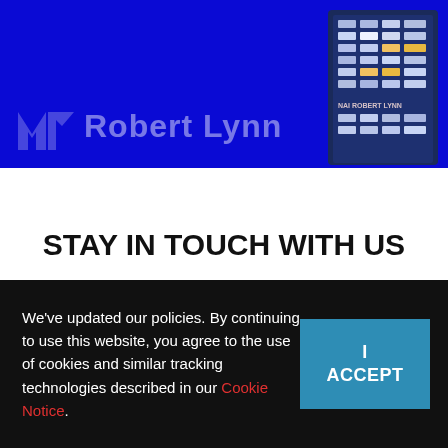[Figure (photo): Header banner with dark blue background, a photo of a glass office building on the right, and the NAI Robert Lynn logo text on the left in semi-transparent white]
STAY IN TOUCH WITH US
[Figure (illustration): Red map location pin icon in the lower right of the white section]
We've updated our policies. By continuing to use this website, you agree to the use of cookies and similar tracking technologies described in our Cookie Notice.
I ACCEPT